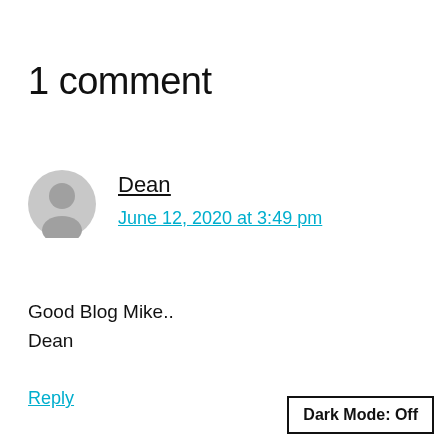1 comment
Dean
June 12, 2020 at 3:49 pm
Good Blog Mike..
Dean
Reply
Dark Mode: Off